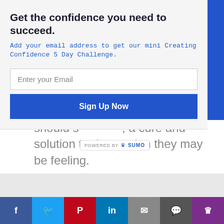Get the confidence you need to succeed.
Add your email address to get our mini Creating Confidence 5 Day Challenge.
Enter your Email
Sign Up Now
should s[POWERED BY SUMO], a cure and solution to depression they may be feeling.
Janeane Davis says: 02/07/2014 at